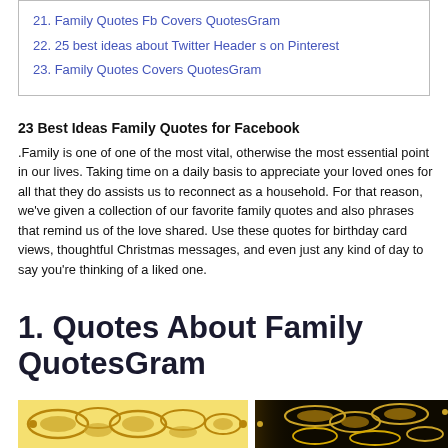21. Family Quotes Fb Covers QuotesGram
22. 25 best ideas about Twitter Header s on Pinterest
23. Family Quotes Covers QuotesGram
23 Best Ideas Family Quotes for Facebook
.Family is one of one of the most vital, otherwise the most essential point in our lives. Taking time on a daily basis to appreciate your loved ones for all that they do assists us to reconnect as a household. For that reason, we've given a collection of our favorite family quotes and also phrases that remind us of the love shared. Use these quotes for birthday card views, thoughtful Christmas messages, and even just any kind of day to say you're thinking of a liked one.
1. Quotes About Family QuotesGram
[Figure (photo): Gold ornamental design on light background]
[Figure (photo): Gold ornamental design on dark/black background]